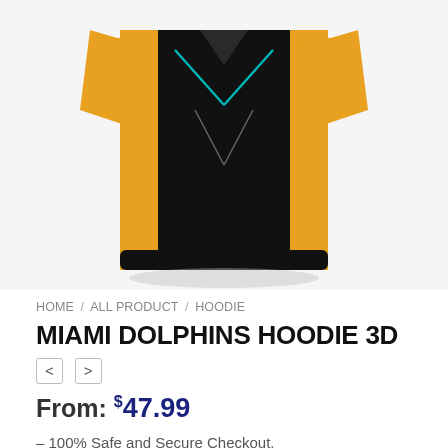[Figure (photo): Miami Dolphins Hoodie 3D product photo showing a black, orange, and teal hoodie from the front]
HOME / ALL PRODUCT / HOODIE
MIAMI DOLPHINS HOODIE 3D
< >
From: $47.99
– 100% Safe and Secure Checkout.
****** WORLDWIDE SHIPPING ******
All most Miami Dolphins are custom made and require a production time of 5 – 7 days.
Shipping time approval: 20 – 25 days from the day of dispatch.